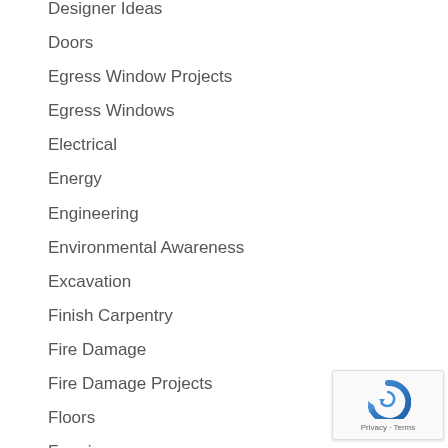Designer Ideas
Doors
Egress Window Projects
Egress Windows
Electrical
Energy
Engineering
Environmental Awareness
Excavation
Finish Carpentry
Fire Damage
Fire Damage Projects
Floors
Framing
Funding Sources
[Figure (other): reCAPTCHA widget showing a circular arrow icon with 'Privacy - Terms' text below]